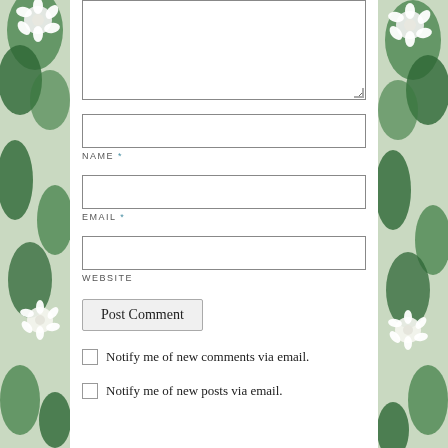[Figure (illustration): Floral border on left side with white flowers and green leaves]
[Figure (illustration): Floral border on right side with white flowers and green leaves]
Comment textarea (top portion visible)
NAME *
EMAIL *
WEBSITE
Post Comment
Notify me of new comments via email.
Notify me of new posts via email.